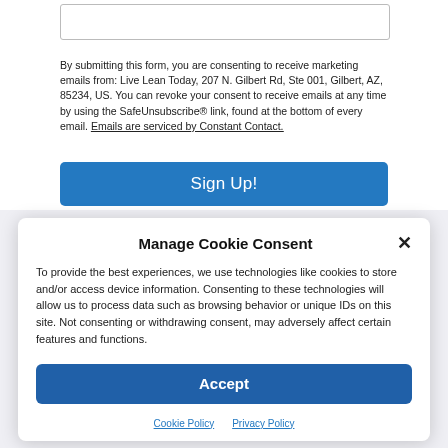By submitting this form, you are consenting to receive marketing emails from: Live Lean Today, 207 N. Gilbert Rd, Ste 001, Gilbert, AZ, 85234, US. You can revoke your consent to receive emails at any time by using the SafeUnsubscribe® link, found at the bottom of every email. Emails are serviced by Constant Contact.
Sign Up!
Manage Cookie Consent
To provide the best experiences, we use technologies like cookies to store and/or access device information. Consenting to these technologies will allow us to process data such as browsing behavior or unique IDs on this site. Not consenting or withdrawing consent, may adversely affect certain features and functions.
Accept
Cookie Policy   Privacy Policy